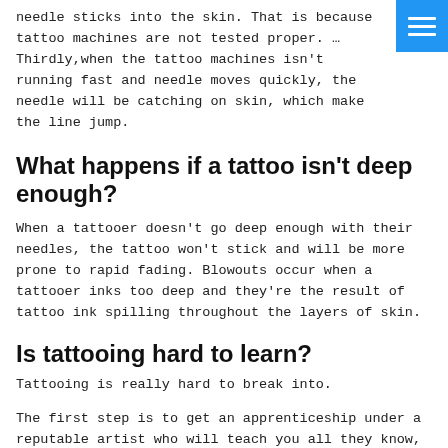needle sticks into the skin. That is because tattoo machines are not tested proper. … Thirdly,when the tattoo machines isn't running fast and needle moves quickly, the needle will be catching on skin, which make the line jump.
What happens if a tattoo isn't deep enough?
When a tattooer doesn't go deep enough with their needles, the tattoo won't stick and will be more prone to rapid fading. Blowouts occur when a tattooer inks too deep and they're the result of tattoo ink spilling throughout the layers of skin.
Is tattooing hard to learn?
Tattooing is really hard to break into.
The first step is to get an apprenticeship under a reputable artist who will teach you all they know, but that can take years of persistence. … "Hang out,